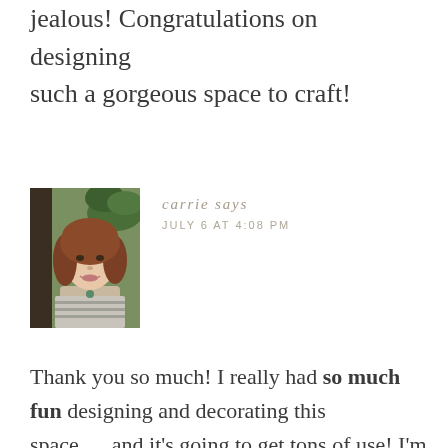jealous! Congratulations on designing such a gorgeous space to craft!
Reply
[Figure (photo): Portrait photo of a woman with reddish-brown hair, smiling, wearing a striped top, with green plants in the background]
carrie says
JULY 6 AT 4:08 PM
Thank you so much! I really had so much fun designing and decorating this space…..and it's going to get tons of use! I'm so appreciative of you for following